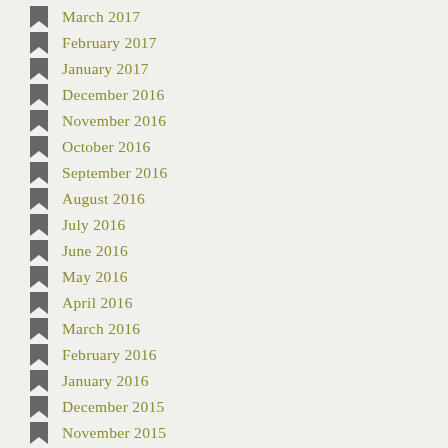March 2017
February 2017
January 2017
December 2016
November 2016
October 2016
September 2016
August 2016
July 2016
June 2016
May 2016
April 2016
March 2016
February 2016
January 2016
December 2015
November 2015
October 2015